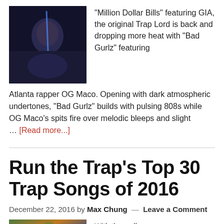[Figure (photo): Dark photo of a person, likely a rapper, in dim blue lighting]
"Million Dollar Bills" featuring GIA, the original Trap Lord is back and dropping more heat with "Bad Gurlz" featuring Atlanta rapper OG Maco. Opening with dark atmospheric undertones, "Bad Gurlz" builds with pulsing 808s while OG Maco's spits fire over melodic bleeps and slight … [Read more...]
Run the Trap's Top 30 Trap Songs of 2016
December 22, 2016 by Max Chung — Leave a Comment
[Figure (photo): Colorful album or event artwork with vibrant colors]